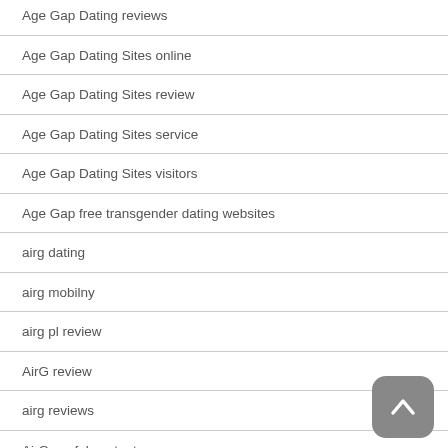Age Gap Dating reviews
Age Gap Dating Sites online
Age Gap Dating Sites review
Age Gap Dating Sites service
Age Gap Dating Sites visitors
Age Gap free transgender dating websites
airg dating
airg mobilny
airg pl review
AirG review
airg reviews
AirG useful content
airg-recenze PE™ihlÁYEVenÍ